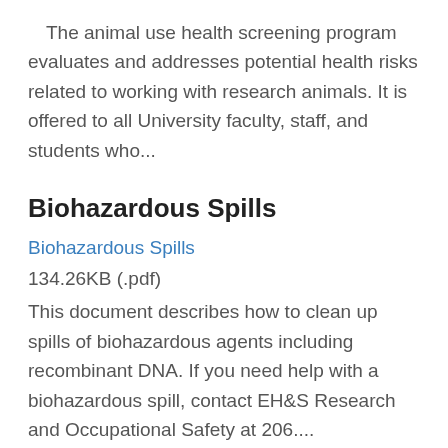The animal use health screening program evaluates and addresses potential health risks related to working with research animals. It is offered to all University faculty, staff, and students who...
Biohazardous Spills
Biohazardous Spills
134.26KB (.pdf)
This document describes how to clean up spills of biohazardous agents including recombinant DNA. If you need help with a biohazardous spill, contact EH&S Research and Occupational Safety at 206....